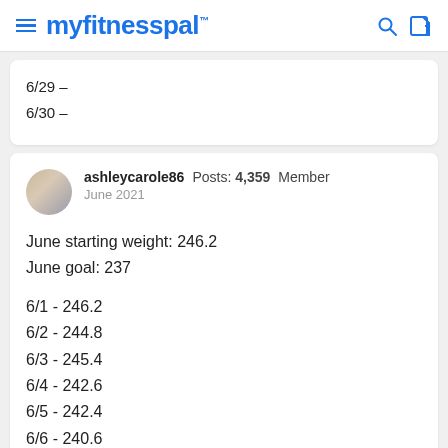myfitnesspal
6/29 –
6/30 –
ashleycarole86  Posts: 4,359  Member
June 2021

June starting weight: 246.2
June goal: 237

6/1 - 246.2
6/2 - 244.8
6/3 - 245.4
6/4 - 242.6
6/5 - 242.4
6/6 - 240.6